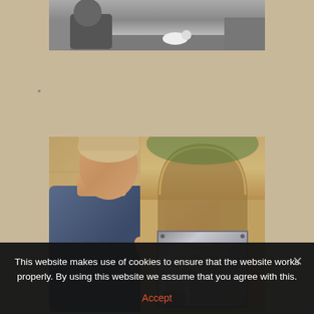[Figure (photo): Black and white photograph at top, partially visible, showing outdoor scene]
[Figure (photo): Color photograph of a middle-aged man with fair hair leaning against a stone family grave monument (Familien Grabstätte LIST) with a metallic plaque, a small portrait photo embedded on the plaque. Text on plaque reads FAMILIEN GRABSTÄTTE / LIST / SKI / ER]
This website makes use of cookies to ensure that the website works properly. By using this website we assume that you agree with this.
Accept